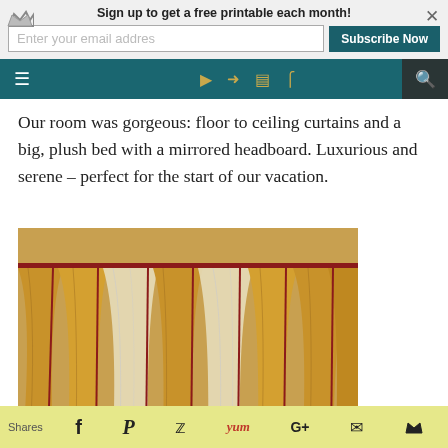Sign up to get a free printable each month!
Enter your email addres | Subscribe Now
[Figure (screenshot): Website navigation bar with hamburger menu, social media icons (Facebook, Twitter, Instagram, RSS), and search icon on teal background]
Our room was gorgeous: floor to ceiling curtains and a big, plush bed with a mirrored headboard. Luxurious and serene – perfect for the start of our vacation.
[Figure (photo): Photo of luxurious floor-to-ceiling gold and cream draped curtains with red trim in a hotel room]
Shares | f | P | Twitter | Yum | G+ | envelope | crown